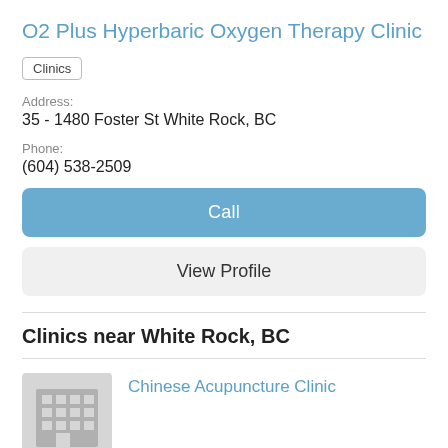O2 Plus Hyperbaric Oxygen Therapy Clinic
Clinics
Address:
35 - 1480 Foster St White Rock, BC
Phone:
(604) 538-2509
Call
View Profile
Clinics near White Rock, BC
[Figure (illustration): Gray placeholder building icon]
Chinese Acupuncture Clinic